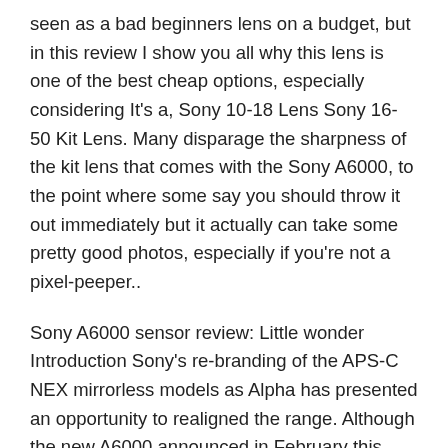seen as a bad beginners lens on a budget, but in this review I show you all why this lens is one of the best cheap options, especially considering It's a, Sony 10-18 Lens Sony 16-50 Kit Lens. Many disparage the sharpness of the kit lens that comes with the Sony A6000, to the point where some say you should throw it out immediately but it actually can take some pretty good photos, especially if you're not a pixel-peeper..
Sony A6000 sensor review: Little wonder Introduction Sony's re-branding of the APS-C NEX mirrorless models as Alpha has presented an opportunity to realigned the range. Although the new A6000 announced in February this year features a 24-Mpix CMOS like the technically still current NEX-7 it is seen as a replacement to the newer NEX-6.Like In particular, the primes from 19mm to 60mm below are nice values. Keep in mind when evaluating lenses that the Sony a6000 has 1.5x crop factor, and to make things easier we've listed the